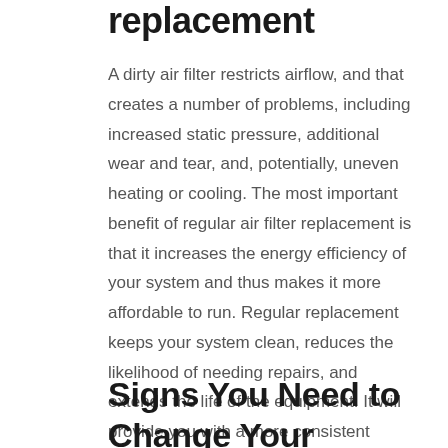replacement
A dirty air filter restricts airflow, and that creates a number of problems, including increased static pressure, additional wear and tear, and, potentially, uneven heating or cooling. The most important benefit of regular air filter replacement is that it increases the energy efficiency of your system and thus makes it more affordable to run. Regular replacement keeps your system clean, reduces the likelihood of needing repairs, and extends the life of the equipment. It will provide you with a more consistent temperature throughout your home, and it will help to a degree with indoor air quality.
Signs You Need to Change Your Air Filter